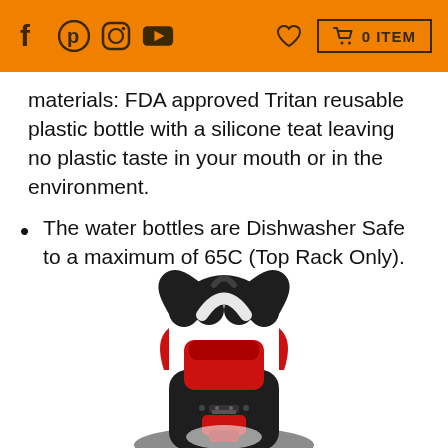f [pinterest] [instagram] [youtube] — heart icon — 0 ITEM
materials: FDA approved Tritan reusable plastic bottle with a silicone teat leaving no plastic taste in your mouth or in the environment.
The water bottles are Dishwasher Safe to a maximum of 65C (Top Rack Only).
[Figure (photo): Top-down view of a black and red water bottle cap/lid with a carry handle, showing the red flip-open spout mechanism and black body.]